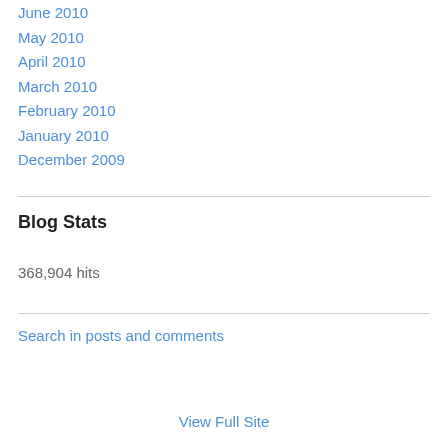June 2010
May 2010
April 2010
March 2010
February 2010
January 2010
December 2009
Blog Stats
368,904 hits
Search in posts and comments
View Full Site